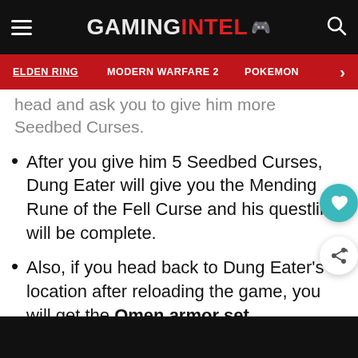GAMINGINTEL
ELDEN RING  MODERN WARFARE 2  POKEMON
head and ask you to give him more Seedbed Curses.
After you give him 5 Seedbed Curses, Dung Eater will give you the Mending Rune of the Fell Curse and his questline will be complete.
Also, if you head back to Dung Eater's location after reloading the game, you will get the Omen armor set.